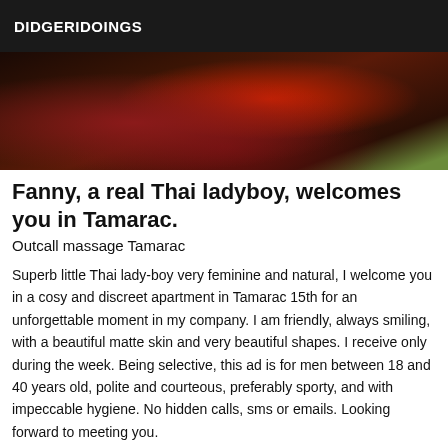DIDGERIDOINGS
[Figure (photo): Partial photo showing person wearing dark clothing with red floral pattern]
Fanny, a real Thai ladyboy, welcomes you in Tamarac.
Outcall massage Tamarac
Superb little Thai lady-boy very feminine and natural, I welcome you in a cosy and discreet apartment in Tamarac 15th for an unforgettable moment in my company. I am friendly, always smiling, with a beautiful matte skin and very beautiful shapes. I receive only during the week. Being selective, this ad is for men between 18 and 40 years old, polite and courteous, preferably sporty, and with impeccable hygiene. No hidden calls, sms or emails. Looking forward to meeting you.